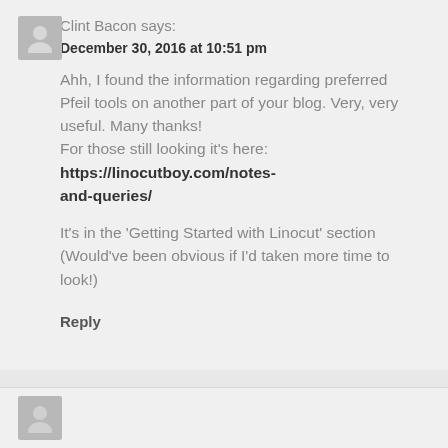Clint Bacon says:
December 30, 2016 at 10:51 pm
Ahh, I found the information regarding preferred Pfeil tools on another part of your blog. Very, very useful. Many thanks!
For those still looking it's here:
https://linocutboy.com/notes-and-queries/
It's in the 'Getting Started with Linocut' section (Would've been obvious if I'd taken more time to look!)
Reply